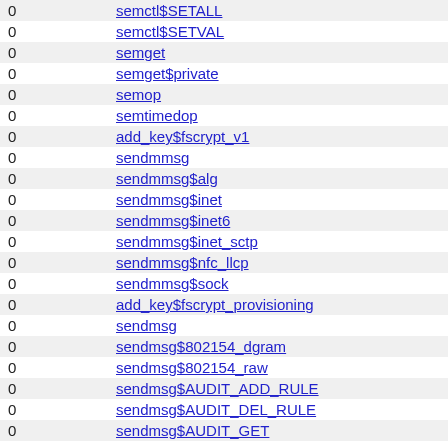| 0 | semctl$SETALL |
| 0 | semctl$SETVAL |
| 0 | semget |
| 0 | semget$private |
| 0 | semop |
| 0 | semtimedop |
| 0 | add_key$fscrypt_v1 |
| 0 | sendmmsg |
| 0 | sendmmsg$alg |
| 0 | sendmmsg$inet |
| 0 | sendmmsg$inet6 |
| 0 | sendmmsg$inet_sctp |
| 0 | sendmmsg$nfc_llcp |
| 0 | sendmmsg$sock |
| 0 | add_key$fscrypt_provisioning |
| 0 | sendmsg |
| 0 | sendmsg$802154_dgram |
| 0 | sendmsg$802154_raw |
| 0 | sendmsg$AUDIT_ADD_RULE |
| 0 | sendmsg$AUDIT_DEL_RULE |
| 0 | sendmsg$AUDIT_GET |